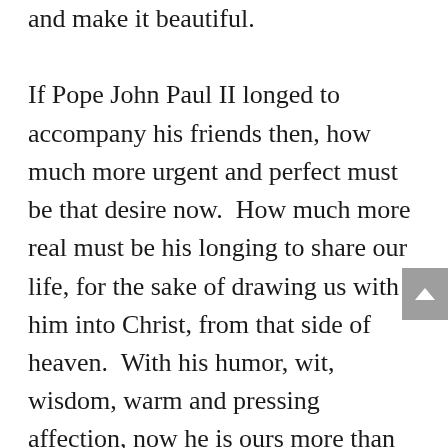and make it beautiful. If Pope John Paul II longed to accompany his friends then, how much more urgent and perfect must be that desire now.  How much more real must be his longing to share our life, for the sake of drawing us with him into Christ, from that side of heaven.  With his humor, wit, wisdom, warm and pressing affection, now he is ours more than ever.  If there is a word that can best sum up our understanding of devotion to the saints, maybe it is